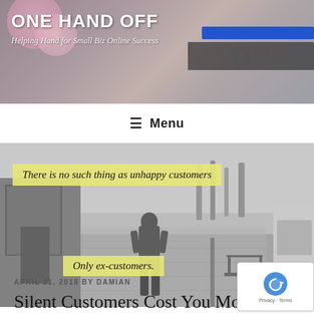ONE HAND OFF — Helping Hand for Small Biz Online Success
≡ Menu
[Figure (photo): Black and white street scene with a person walking away down a foggy sidewalk past storefronts. Two yellow highlighted text overlays: 'There is no such thing as unhappy customers' and 'Only ex-customers.']
APRIL 21, 2018 BY DAMIAN
Silent Customers Cost You Money